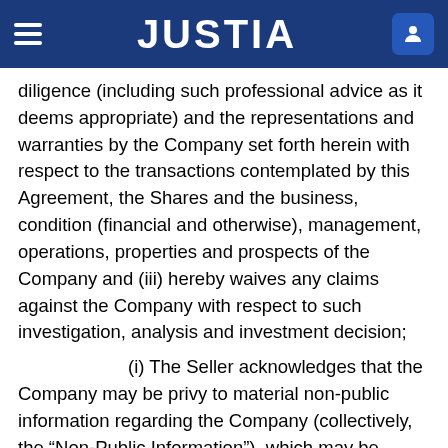JUSTIA
diligence (including such professional advice as it deems appropriate) and the representations and warranties by the Company set forth herein with respect to the transactions contemplated by this Agreement, the Shares and the business, condition (financial and otherwise), management, operations, properties and prospects of the Company and (iii) hereby waives any claims against the Company with respect to such investigation, analysis and investment decision;
(i) The Seller acknowledges that the Company may be privy to material non-public information regarding the Company (collectively, the “Non-Public Information”), which may be material to a reasonable investor, such as the Seller, when making investment disposition decisions, including the decision to enter into the Agreement, and the Seller’s decision to